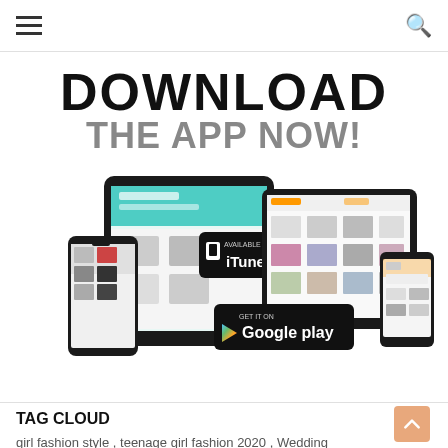Navigation bar with hamburger menu and search icon
DOWNLOAD THE APP NOW!
[Figure (illustration): Mobile and tablet devices showing app screenshots with iTunes and Google Play download badges]
TAG CLOUD
girl fashion style , teenage girl fashion 2020 , Wedding